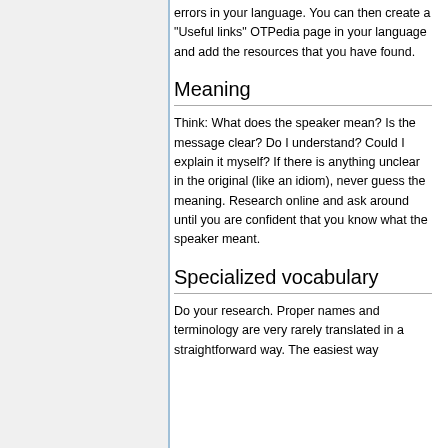errors in your language. You can then create a "Useful links" OTPedia page in your language and add the resources that you have found.
Meaning
Think: What does the speaker mean? Is the message clear? Do I understand? Could I explain it myself? If there is anything unclear in the original (like an idiom), never guess the meaning. Research online and ask around until you are confident that you know what the speaker meant.
Specialized vocabulary
Do your research. Proper names and terminology are very rarely translated in a straightforward way. The easiest way